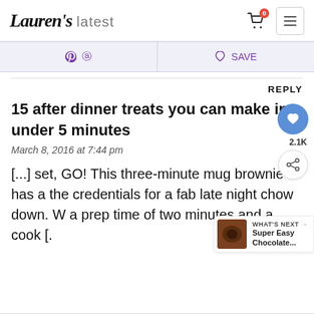Lauren's latest
Pinterest  ♡ SAVE
REPLY
15 after dinner treats you can make in under 5 minutes
March 8, 2016 at 7:44 pm
[...] set, GO! This three-minute mug brownie has all the credentials for a fab late night chow down. With a prep time of two minutes and a cook [...